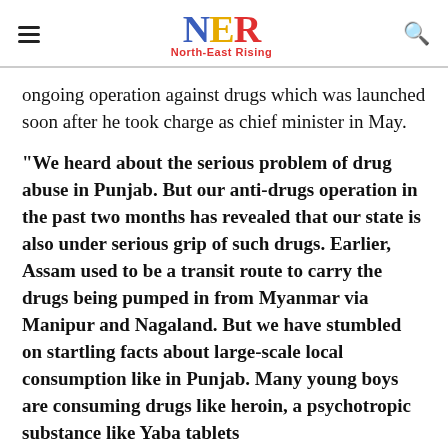NER North-East Rising
ongoing operation against drugs which was launched soon after he took charge as chief minister in May.
"We heard about the serious problem of drug abuse in Punjab. But our anti-drugs operation in the past two months has revealed that our state is also under serious grip of such drugs. Earlier, Assam used to be a transit route to carry the drugs being pumped in from Myanmar via Manipur and Nagaland. But we have stumbled on startling facts about large-scale local consumption like in Punjab. Many young boys are consuming drugs like heroin, a psychotropic substance like Yaba tablets